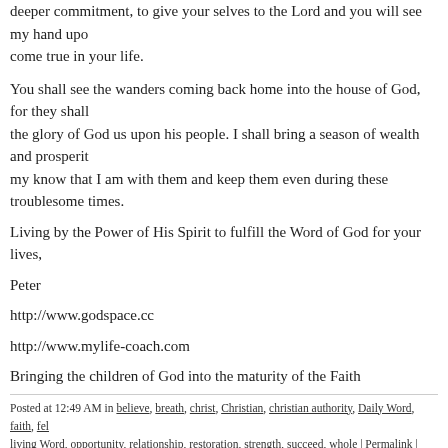deeper commitment, to give your selves to the Lord and you will see my hand upon come true in your life.
You shall see the wanders coming back home into the house of God, for they shall the glory of God us upon his people. I shall bring a season of wealth and prosperity my know that I am with them and keep them even during these troublesome times.
Living by the Power of His Spirit to fulfill the Word of God for your lives,
Peter
http://www.godspace.cc
http://www.mylife-coach.com
Bringing the children of God into the maturity of the Faith
Posted at 12:49 AM in believe, breath, christ, Christian, christian authority, Daily Word, faith, fel living Word, opportunity, relationship, restoration, strength, succeed, whole | Permalink | Comme
05/24/2010
Entering the New Dynamic of Kingdom Livin
All of creation is frustrated/broken and the Lord is in the process o planned; when the world was created.
We are in the process of reconciling the world back into a relatio